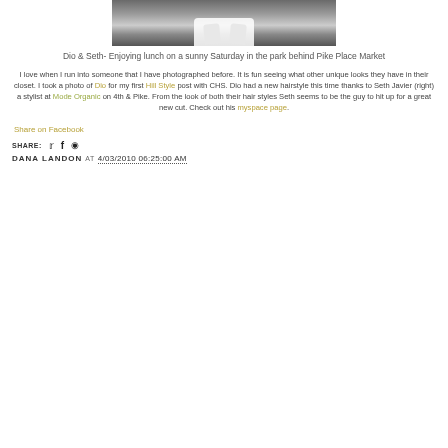[Figure (photo): Partial photo of legs/feet in white shoes on pavement in a park]
Dio & Seth- Enjoying lunch on a sunny Saturday in the park behind Pike Place Market
I love when I run into someone that I have photographed before. It is fun seeing what other unique looks they have in their closet. I took a photo of Dio for my first Hill Style post with CHS. Dio had a new hairstyle this time thanks to Seth Javier (right) a stylist at Mode Organic on 4th & Pike. From the look of both their hair styles Seth seems to be the guy to hit up for a great new cut. Check out his myspace page.
Share on Facebook
SHARE:
DANA LANDON AT 4/03/2010 06:25:00 AM